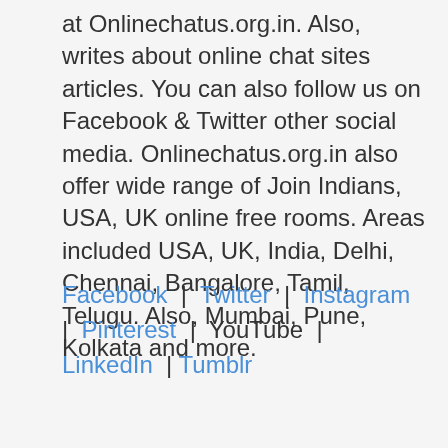at Onlinechatus.org.in. Also, writes about online chat sites articles. You can also follow us on Facebook & Twitter other social media. Onlinechatus.org.in also offer wide range of Join Indians, USA, UK online free rooms. Areas included USA, UK, India, Delhi, Chennai, Bangalore, Tamil, Telugu. Also, Mumbai, Pune, Kolkata and more.
Facebook | Twitter | Instagram | Pinterest | YouTube | LinkedIn | Tumblr